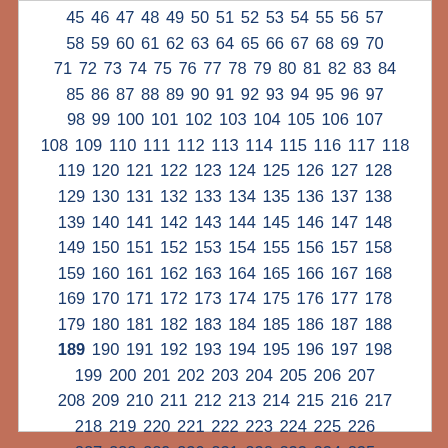45 46 47 48 49 50 51 52 53 54 55 56 57 58 59 60 61 62 63 64 65 66 67 68 69 70 71 72 73 74 75 76 77 78 79 80 81 82 83 84 85 86 87 88 89 90 91 92 93 94 95 96 97 98 99 100 101 102 103 104 105 106 107 108 109 110 111 112 113 114 115 116 117 118 119 120 121 122 123 124 125 126 127 128 129 130 131 132 133 134 135 136 137 138 139 140 141 142 143 144 145 146 147 148 149 150 151 152 153 154 155 156 157 158 159 160 161 162 163 164 165 166 167 168 169 170 171 172 173 174 175 176 177 178 179 180 181 182 183 184 185 186 187 188 189 190 191 192 193 194 195 196 197 198 199 200 201 202 203 204 205 206 207 208 209 210 211 212 213 214 215 216 217 218 219 220 221 222 223 224 225 226 227 228 229 230 231 232 233 234 235 236 237 238 239 240 241 242 243 244 245 246